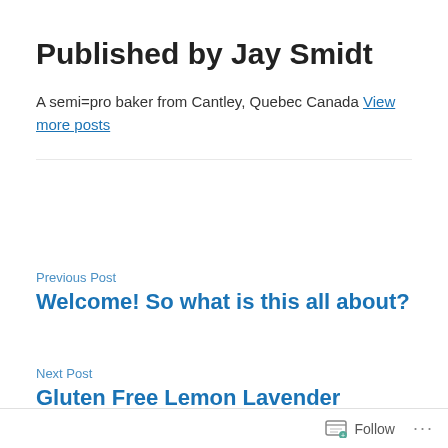Published by Jay Smidt
A semi=pro baker from Cantley, Quebec Canada View more posts
Previous Post
Welcome! So what is this all about?
Next Post
Gluten Free Lemon Lavender Shortbread
Follow ...